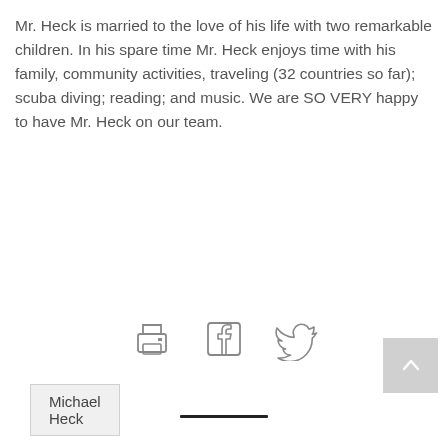Mr. Heck is married to the love of his life with two remarkable children. In his spare time Mr. Heck enjoys time with his family, community activities, traveling (32 countries so far); scuba diving; reading; and music. We are SO VERY happy to have Mr. Heck on our team.
Michael Heck
[Figure (infographic): Three social/share icons in a row: printer icon, Facebook icon, Twitter bird icon]